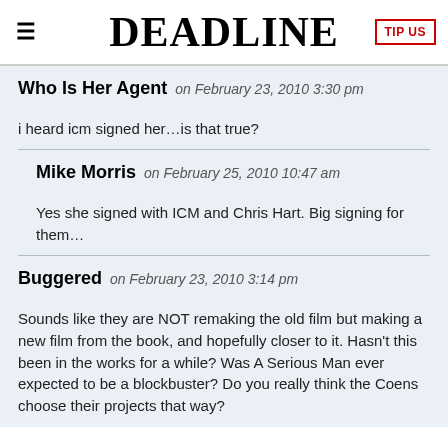DEADLINE | TIP US
Who Is Her Agent on February 23, 2010 3:30 pm
i heard icm signed her…is that true?
Mike Morris on February 25, 2010 10:47 am
Yes she signed with ICM and Chris Hart. Big signing for them…
Buggered on February 23, 2010 3:14 pm
Sounds like they are NOT remaking the old film but making a new film from the book, and hopefully closer to it. Hasn't this been in the works for a while? Was A Serious Man ever expected to be a blockbuster? Do you really think the Coens choose their projects that way?